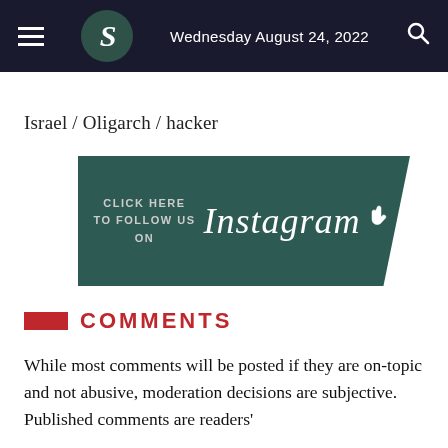Wednesday August 24, 2022
Israel / Oligarch / hacker
[Figure (infographic): Dark teal Instagram follow banner with text 'CLICK HERE TO FOLLOW US ON' and Instagram logo with hand cursor icon]
COMMENTS
While most comments will be posted if they are on-topic and not abusive, moderation decisions are subjective. Published comments are readers'